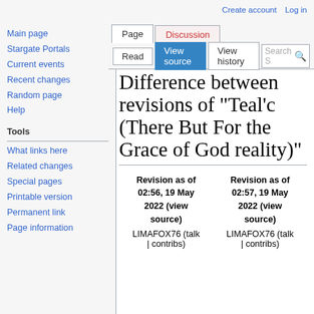Create account  Log in
Difference between revisions of "Teal'c (There But For the Grace of God reality)"
| Revision as of 02:56, 19 May 2022 (view source) | Revision as of 02:57, 19 May 2022 (view source) |
| --- | --- |
| LIMAFOX76 (talk | contribs) | LIMAFOX76 (talk | contribs) |